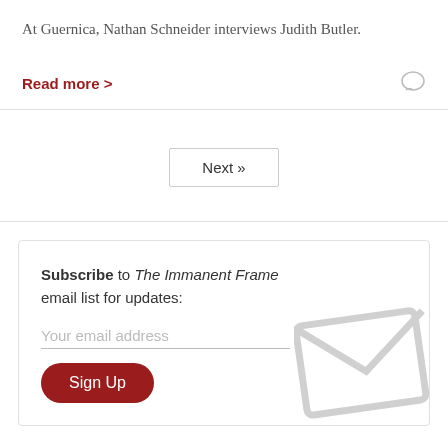At Guernica, Nathan Schneider interviews Judith Butler.
Read more >
Next »
Subscribe to The Immanent Frame email list for updates:
Your email address
Sign Up